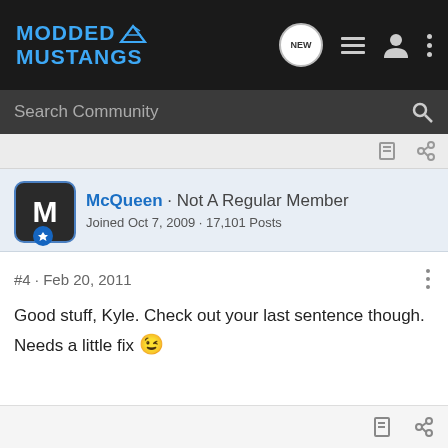MODDED MUSTANGS
Search Community
McQueen · Not A Regular Member
Joined Oct 7, 2009 · 17,101 Posts
#4 · Feb 20, 2011
Good stuff, Kyle. Check out your last sentence though. Needs a little fix 😉